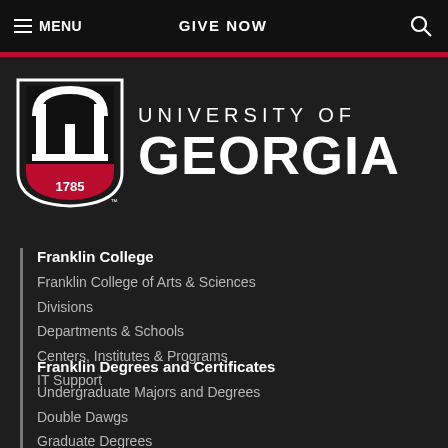MENU | GIVE NOW | Search
[Figure (logo): University of Georgia shield logo with arch and 1785, alongside text UNIVERSITY OF GEORGIA]
Franklin College
Franklin College of Arts & Sciences
Divisions
Departments & Schools
Centers, Institutes & Programs
IT Support
Franklin Degrees and Certificates
Undergraduate Majors and Degrees
Double Dawgs
Graduate Degrees
Graduate Admissions Portals
Experiential Learning